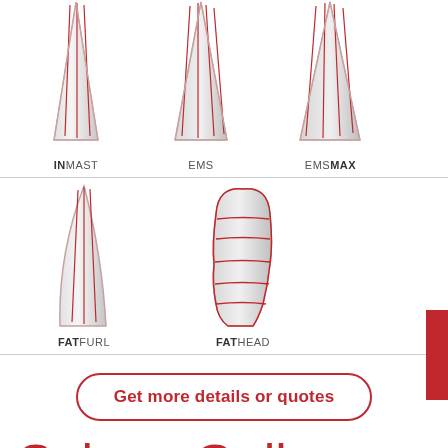[Figure (illustration): Three tall triangular sailing sail diagrams labeled INMAST, EMS, and EMSMAX with red stripe lines on gray/silver sail shapes]
[Figure (illustration): Two sailing sail diagrams: FATFURL (tall slim triangle) and FATHEAD (wider sail with horizontal red panels) with red outline and gray fill]
Get more details or quotes
Solano Gallery